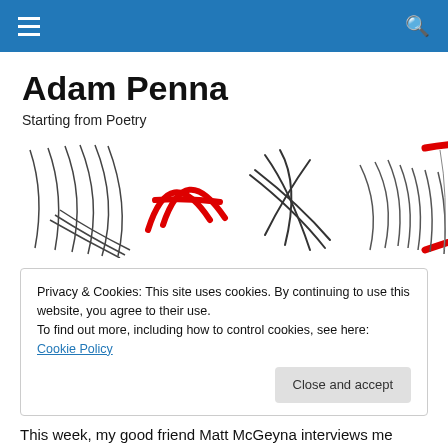Navigation bar with hamburger menu and search icon
Adam Penna
Starting from Poetry
[Figure (illustration): Abstract calligraphic/gestural line drawings with black and red ink strokes, appearing to be stylized letter forms or signatures]
Privacy & Cookies: This site uses cookies. By continuing to use this website, you agree to their use.
To find out more, including how to control cookies, see here: Cookie Policy
Close and accept
This week, my good friend Matt McGeyna interviews me